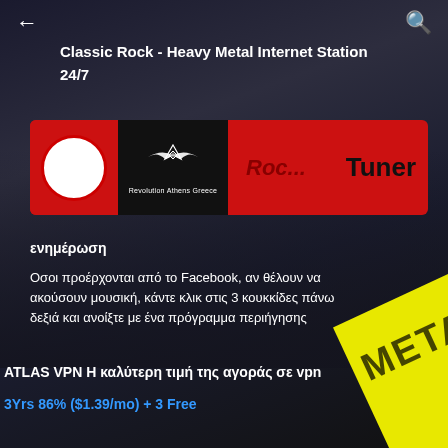[Figure (screenshot): Mobile app interface for Classic Rock Heavy Metal Internet Station showing a radio player UI with red background, black logo section with winged emblem, and text Roc... Tuner. Dark concert crowd background with yellow METALHE banner visible.]
Classic Rock - Heavy Metal Internet Station
24/7
ενημέρωση
Οσοι προέρχονται από το Facebook, αν θέλουν να ακούσουν μουσική, κάντε κλικ στις 3 κουκκίδες πάνω δεξιά και ανοίξτε με ένα πρόγραμμα περιήγησης
ATLAS VPN Η καλύτερη τιμή της αγοράς σε vpn
3Yrs 86% ($1.39/mo) + 3 Free